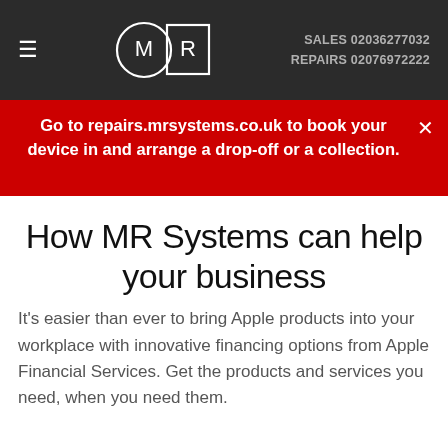≡  MR Systems  SALES 02036277032  REPAIRS 02076972222
Go to repairs.mrsystems.co.uk to book your device in and arrange a drop-off or a collection.
How MR Systems can help your business
It's easier than ever to bring Apple products into your workplace with innovative financing options from Apple Financial Services. Get the products and services you need, when you need them.